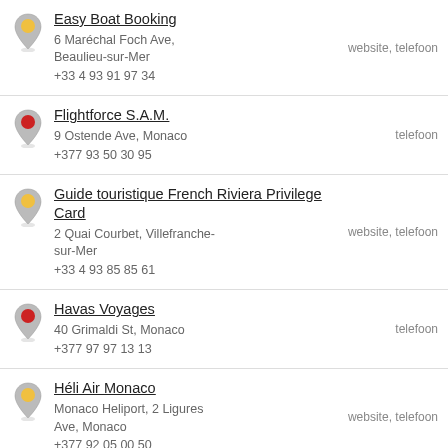Easy Boat Booking
6 Maréchal Foch Ave, Beaulieu-sur-Mer
+33 4 93 91 97 34
website, telefoon
Flightforce S.A.M.
9 Ostende Ave, Monaco
+377 93 50 30 95
telefoon
Guide touristique French Riviera Privilege Card
2 Quai Courbet, Villefranche-sur-Mer
+33 4 93 85 85 61
website, telefoon
Havas Voyages
40 Grimaldi St, Monaco
+377 97 97 13 13
telefoon
Héli Air Monaco
Monaco Heliport, 2 Ligures Ave, Monaco
+377 92 05 00 50
website, telefoon